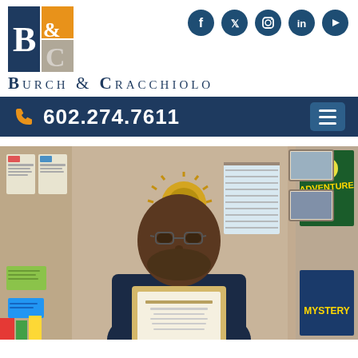[Figure (logo): Burch & Cracchiolo law firm logo with orange, navy blue, and gray square blocks forming B&C letters]
[Figure (infographic): Social media icons: Facebook, Twitter, Instagram, LinkedIn, YouTube in dark teal circles]
Burch & Cracchiolo
602.274.7611
[Figure (photo): A man holding a framed certificate/award, standing in what appears to be an office or classroom setting with colorful posters and books on the walls]